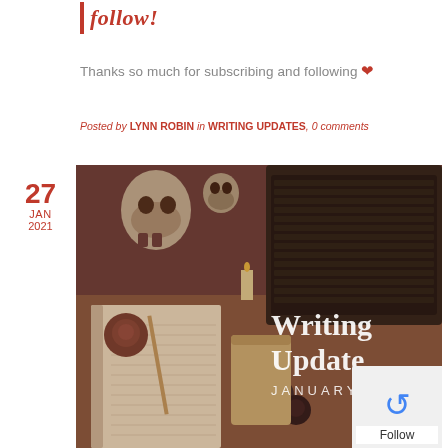follow!
Thanks so much for subscribing and following ❤
Posted by LYNN ROBIN in WRITING UPDATES, 0 comments
27
JAN
2021
[Figure (photo): Blog post header image with a writing desk scene showing skulls, roses, candles, notebook, laptop keyboard, and text overlay reading 'Writing Update JANUARY']